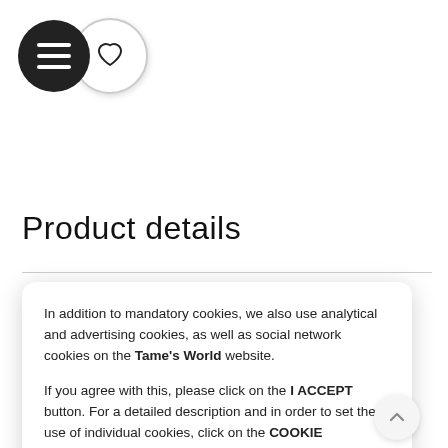[Figure (illustration): Hamburger menu icon (dark circle with three white horizontal lines) and heart/favorite icon (white circle with heart outline), partially overlapping]
Product details
In addition to mandatory cookies, we also use analytical and advertising cookies, as well as social network cookies on the Tame's World website.

If you agree with this, please click on the I ACCEPT button. For a detailed description and in order to set the use of individual cookies, click on the COOKIE SETTINGS link.